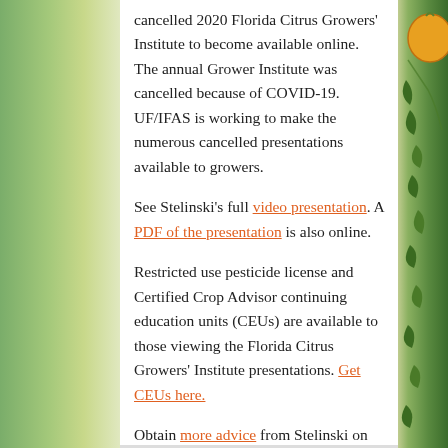cancelled 2020 Florida Citrus Growers' Institute to become available online. The annual Grower Institute was cancelled because of COVID-19. UF/IFAS is working to make the numerous cancelled presentations available to growers.
See Stelinski's full video presentation. A PDF of the presentation is also online.
Restricted use pesticide license and Certified Crop Advisor continuing education units (CEUs) are available to those viewing the Florida Citrus Growers' Institute presentations. Get CEUs here.
Obtain more advice from Stelinski on psyllid/HLB control.